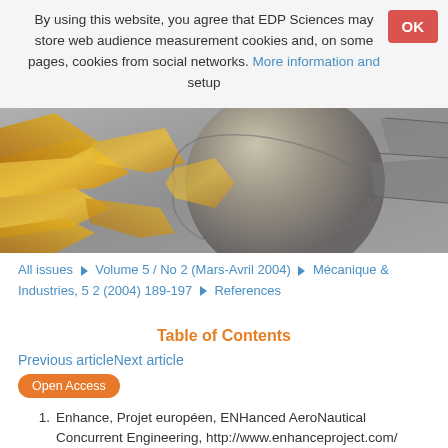By using this website, you agree that EDP Sciences may store web audience measurement cookies and, on some pages, cookies from social networks. More information and setup
[Figure (illustration): 3D rendered illustration of jet engine turbine blades in yellow/gold and grey colors, cross-sectional view]
All issues ▶ Volume 5 / No 2 (Mars-Avril 2004) ▶ Mécanique & Industries, 5 2 (2004) 189-197 ▶ References
Table of Contents
Previous articleNext article
Open Access
1. Enhance, Projet européen, ENHanced AeroNautical Concurrent Engineering, http://www.enhanceproject.com/ [Google Scholar]